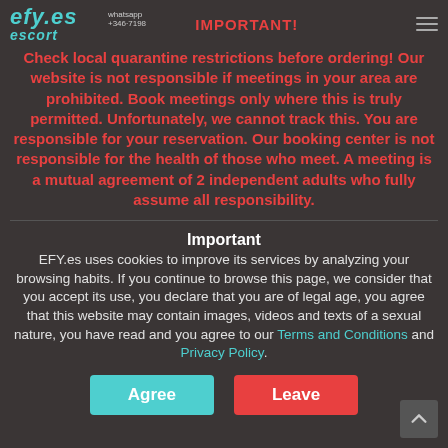efy.es  IMPORTANT!
Check local quarantine restrictions before ordering! Our website is not responsible if meetings in your area are prohibited. Book meetings only where this is truly permitted. Unfortunately, we cannot track this. You are responsible for your reservation. Our booking center is not responsible for the health of those who meet. A meeting is a mutual agreement of 2 independent adults who fully assume all responsibility.
Important
EFY.es uses cookies to improve its services by analyzing your browsing habits. If you continue to browse this page, we consider that you accept its use, you declare that you are of legal age, you agree that this website may contain images, videos and texts of a sexual nature, you have read and you agree to our Terms and Conditions and Privacy Policy.